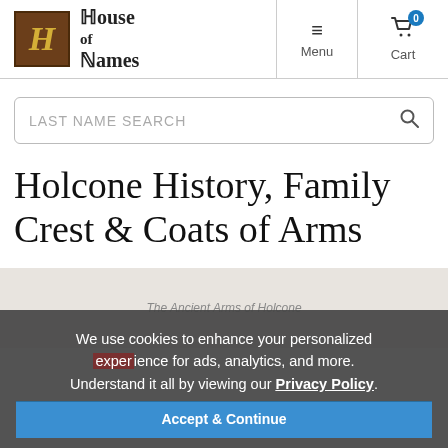House of Names — Menu | Cart 0
[Figure (logo): House of Names logo with stylized gothic H in brown box and gothic text 'House of Names']
LAST NAME SEARCH
Holcone History, Family Crest & Coats of Arms
Origins Available: England
We use cookies to enhance your personalized experience for ads, analytics, and more. Understand it all by viewing our Privacy Policy.
[Figure (illustration): The Ancient Arms of Holcone heraldic illustration partially visible behind cookie banner]
Accept & Continue